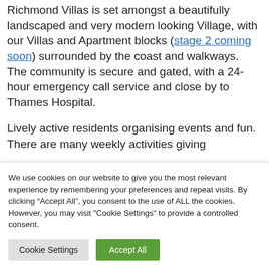Richmond Villas is set amongst a beautifully landscaped and very modern looking Village, with our Villas and Apartment blocks (stage 2 coming soon) surrounded by the coast and walkways.  The community is secure and gated, with a 24-hour emergency call service and close by to Thames Hospital.
Lively active residents organising events and fun. There are many weekly activities giving...
We use cookies on our website to give you the most relevant experience by remembering your preferences and repeat visits. By clicking "Accept All", you consent to the use of ALL the cookies. However, you may visit "Cookie Settings" to provide a controlled consent.